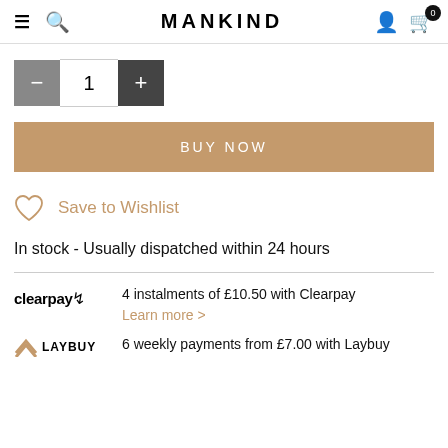MANKIND
[Figure (screenshot): Quantity selector with minus button, value 1, and plus button]
[Figure (screenshot): BUY NOW button in gold/tan color]
Save to Wishlist
In stock - Usually dispatched within 24 hours
4 instalments of £10.50 with Clearpay
Learn more >
6 weekly payments from £7.00 with Laybuy